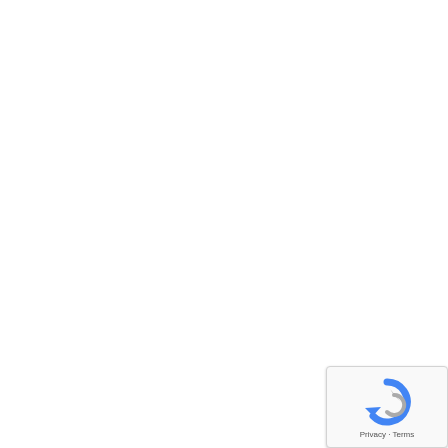fcersontheGreatCentralRailw
[Figure (other): reCAPTCHA widget with spinning arrow logo and Privacy - Terms text]